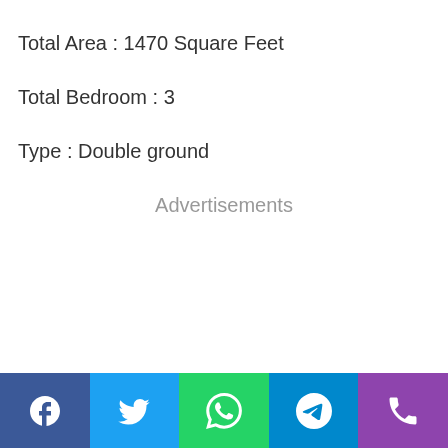Total Area : 1470 Square Feet
Total Bedroom : 3
Type : Double ground
Advertisements
Facebook | Twitter | WhatsApp | Telegram | Phone